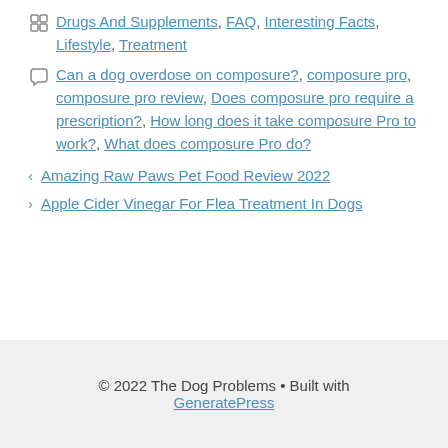Categories: Drugs And Supplements, FAQ, Interesting Facts, Lifestyle, Treatment
Tags: Can a dog overdose on composure?, composure pro, composure pro review, Does composure pro require a prescription?, How long does it take composure Pro to work?, What does composure Pro do?
< Amazing Raw Paws Pet Food Review 2022
> Apple Cider Vinegar For Flea Treatment In Dogs
© 2022 The Dog Problems • Built with GeneratePress